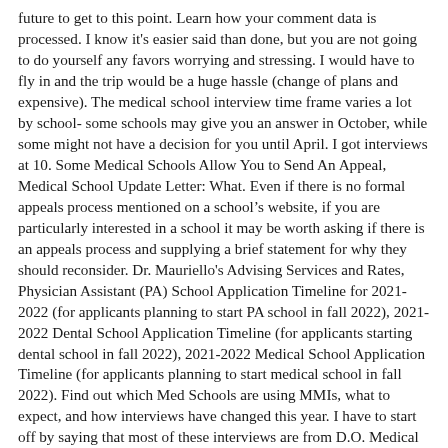future to get to this point. Learn how your comment data is processed. I know it's easier said than done, but you are not going to do yourself any favors worrying and stressing. I would have to fly in and the trip would be a huge hassle (change of plans and expensive). The medical school interview time frame varies a lot by school- some schools may give you an answer in October, while some might not have a decision for you until April. I got interviews at 10. Some Medical Schools Allow You to Send An Appeal, Medical School Update Letter: What. Even if there is no formal appeals process mentioned on a school's website, if you are particularly interested in a school it may be worth asking if there is an appeals process and supplying a brief statement for why they should reconsider. Dr. Mauriello's Advising Services and Rates, Physician Assistant (PA) School Application Timeline for 2021-2022 (for applicants planning to start PA school in fall 2022), 2021-2022 Dental School Application Timeline (for applicants starting dental school in fall 2022), 2021-2022 Medical School Application Timeline (for applicants planning to start medical school in fall 2022). Find out which Med Schools are using MMIs, what to expect, and how interviews have changed this year. I have to start off by saying that most of these interviews are from D.O. Medical School interviews explained. Most medical schools receive at least 10 applications per place so it is important to have a back-up plan if you do not get in. questions to answer. No Medical School Interview Invite Tip: Before you send any